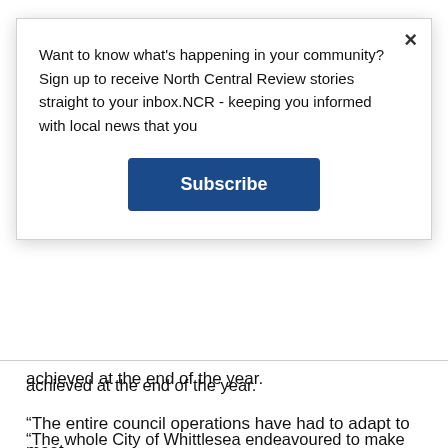[Figure (screenshot): Modal subscription popup dialog with close button (×), text prompting to sign up for North Central Review stories, and a blue Subscribe button]
achieved at the end of the year.
“The whole City of Whittlesea endeavoured to make sure we were very mindful about expenditures and able to open up opportunities to provide targeted support where it was needed to help the community and the organisation through COVID.
“The entire council operations have had to adapt to meet new restrictions, new requirements and to continue the delivery of essential services to keep people connected and engaged.